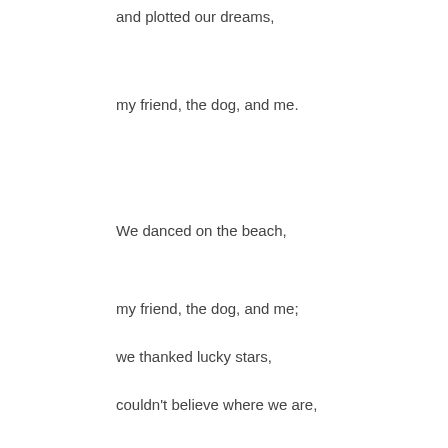and plotted our dreams,
my friend, the dog, and me.
We danced on the beach,
my friend, the dog, and me;
we thanked lucky stars,
couldn't believe where we are,
my friend, the dog, and me.
We strolled on the beach,